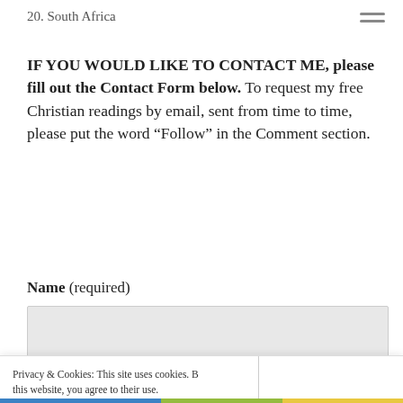20. South Africa
IF YOU WOULD LIKE TO CONTACT ME, please fill out the Contact Form below.  To request my free Christian readings by email, sent from time to time, please put the word “Follow” in the Comment section.
Name (required)
[Figure (screenshot): Privacy & Cookies banner with close and accept button]
Privacy & Cookies: This site uses cookies. By continuing to use this website, you agree to their use. To find out more, including how to control cookies, see here: Cookie Policy